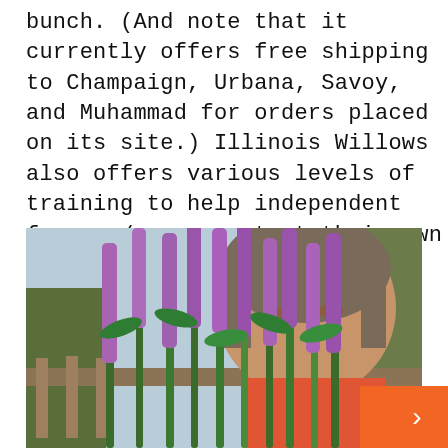bunch. (And note that it currently offers free shipping to Champaign, Urbana, Savoy, and Muhammad for orders placed on its site.) Illinois Willows also offers various levels of training to help independent farmers/growers start their own successful agricultural businesses. .
[Figure (photo): A person holding or standing behind tall purple flowering plants (veronicastrum or similar spike flowers) outdoors, with trees and a fence visible in the background.]